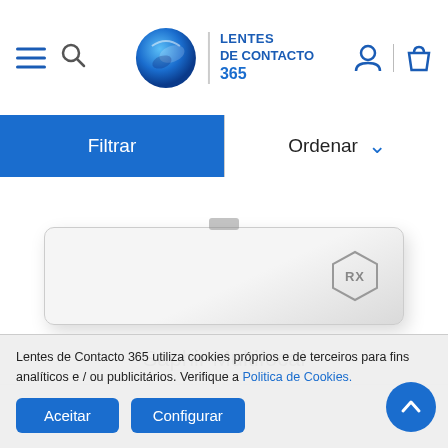[Figure (screenshot): Lentes de Contacto 365 website header with hamburger menu, search icon, logo (globe icon with LENTES DE CONTACTO 365 text), user account icon and shopping bag icon]
Filtrar
Ordenar
[Figure (photo): Product box for Saphir Multifocal contact lenses, white/grey rectangular packaging with RX hexagon badge]
Saphir Multifocal
Lentes de Contacto 365 utiliza cookies próprios e de terceiros para fins analíticos e / ou publicitários. Verifique a Politica de Cookies.
Aceitar
Configurar